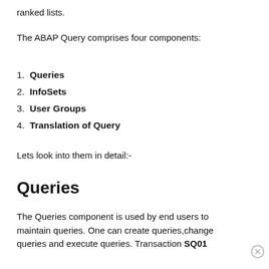ranked lists.
The ABAP Query comprises four components:
Queries
InfoSets
User Groups
Translation of Query
Lets look into them in detail:-
Queries
The Queries component is used by end users to maintain queries. One can create queries,change queries and execute queries. Transaction SQ01